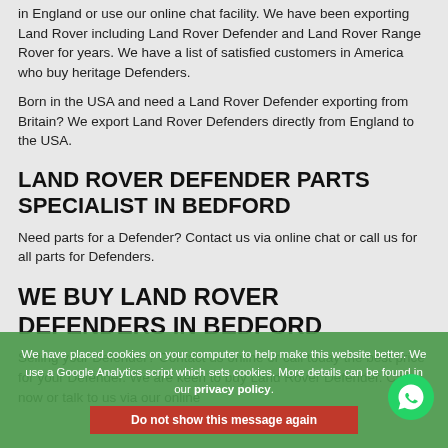in England or use our online chat facility. We have been exporting Land Rover including Land Rover Defender and Land Rover Range Rover for years. We have a list of satisfied customers in America who buy heritage Defenders.
Born in the USA and need a Land Rover Defender exporting from Britain? We export Land Rover Defenders directly from England to the USA.
LAND ROVER DEFENDER PARTS SPECIALIST IN BEDFORD
Need parts for a Defender? Contact us via online chat or call us for all parts for Defenders.
WE BUY LAND ROVER DEFENDERS IN BEDFORD
Selling your Defender? Contact us online or call today the best price for your Defender. We are keen to buy Land Rover Defender. Call now or talk to us via our online
We have placed cookies on your computer to help make this website better. We use a Google Analytics script which sets cookies. More details can be found in our privacy policy.
Do not show this message again